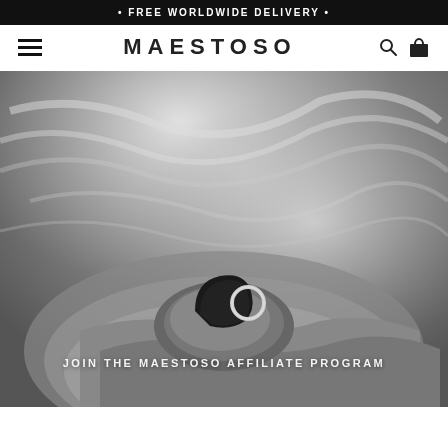• FREE WORLDWIDE DELIVERY •
MAESTOSO
[Figure (photo): Black and white photograph of ocean waves on rocky shore with jewelry items (a dark curved object and a silver ring) placed on a rock in the foreground. Text overlay reads 'JOIN THE MAESTOSO AFFILIATE PROGRAM'.]